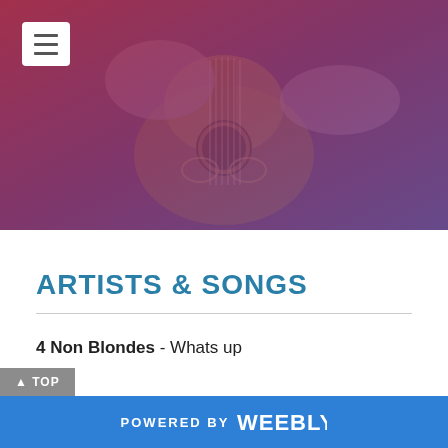[Figure (photo): Hero image showing hands playing a decorated acoustic guitar with ornate engravings, overlaid with a purple-red gradient color wash]
ARTISTS & SONGS
4 Non Blondes - Whats up
POWERED BY weebly